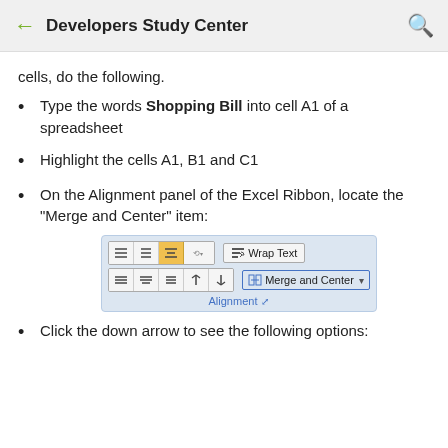Developers Study Center
cells, do the following.
Type the words Shopping Bill into cell A1 of a spreadsheet
Highlight the cells A1, B1 and C1
On the Alignment panel of the Excel Ribbon, locate the "Merge and Center" item:
[Figure (screenshot): Excel Alignment panel showing Wrap Text and Merge and Center buttons]
Click the down arrow to see the following options: